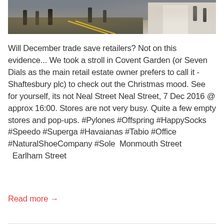[Figure (photo): A street scene photo of Covent Garden / Neal Street area showing pedestrians and shops, taken at approximately 16:00 on 7 Dec 2016. The image is wide and shows a busy street with people walking.]
Will December trade save retailers? Not on this evidence... We took a stroll in Covent Garden (or Seven Dials as the main retail estate owner prefers to call it - Shaftesbury plc) to check out the Christmas mood. See for yourself, its not Neal Street Neal Street, 7 Dec 2016 @ approx 16:00. Stores are not very busy. Quite a few empty stores and pop-ups. #Pylones #Offspring #HappySocks #Speedo #Superga #Havaianas #Tabio #Office #NaturalShoeCompany #Sole  Monmouth Street   Earlham Street
Read more →